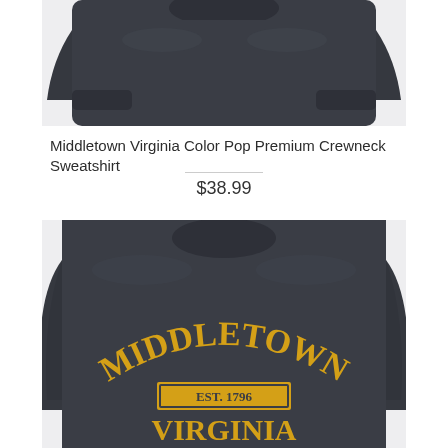[Figure (photo): Dark navy/charcoal crewneck sweatshirt, top portion showing collar and body, cropped view on light gray background]
Middletown Virginia Color Pop Premium Crewneck Sweatshirt
$38.99
[Figure (photo): Dark charcoal crewneck sweatshirt with gold/yellow collegiate text reading MIDDLETOWN, EST. 1796, VIRGINIA on the chest, displayed on light gray background]